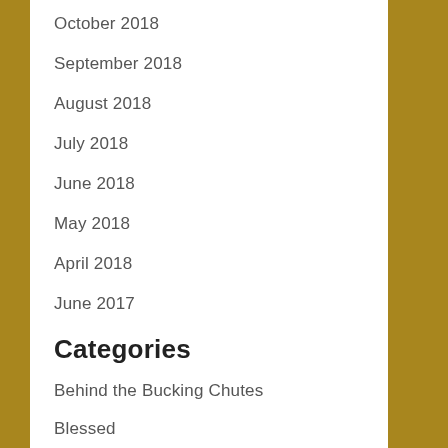October 2018
September 2018
August 2018
July 2018
June 2018
May 2018
April 2018
June 2017
Categories
Behind the Bucking Chutes
Blessed
Forgiveness
Random
Strengthening Your Grip